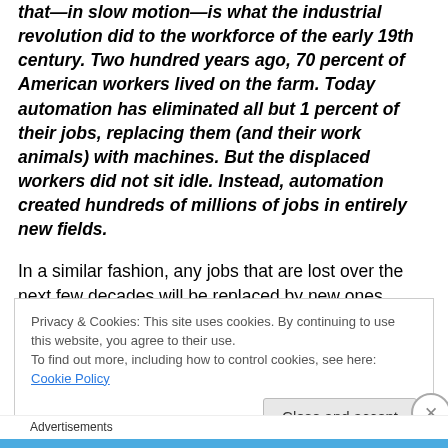that—in slow motion—is what the industrial revolution did to the workforce of the early 19th century. Two hundred years ago, 70 percent of American workers lived on the farm. Today automation has eliminated all but 1 percent of their jobs, replacing them (and their work animals) with machines. But the displaced workers did not sit idle. Instead, automation created hundreds of millions of jobs in entirely new fields.
In a similar fashion, any jobs that are lost over the next few decades will be replaced by new ones.
Privacy & Cookies: This site uses cookies. By continuing to use this website, you agree to their use. To find out more, including how to control cookies, see here: Cookie Policy
Close and accept
Advertisements